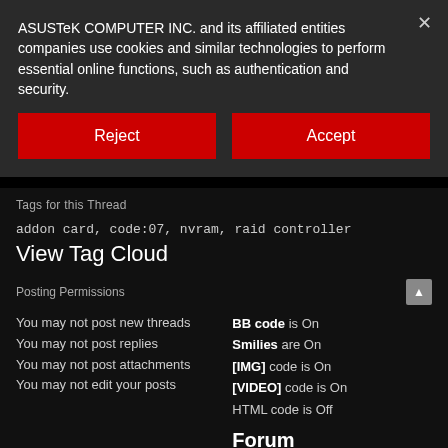ASUSTeK COMPUTER INC. and its affiliated entities companies use cookies and similar technologies to perform essential online functions, such as authentication and security.
Reject
Accept
Tags for this Thread
addon card, code:07, nvram, raid controller
View Tag Cloud
Posting Permissions
You may not post new threads
You may not post replies
You may not post attachments
You may not edit your posts
BB code is On
Smilies are On
[IMG] code is On
[VIDEO] code is On
HTML code is Off
Forum